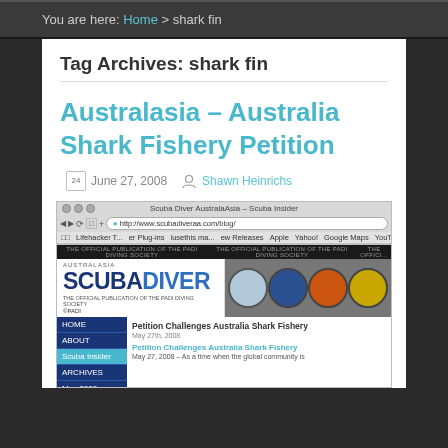You are here: Home > shark fin
Tag Archives: shark fin
Australasia – Australia Shark Fishery Petition
June 27, 2008  Shawn Heinrichs
[Figure (screenshot): Screenshot of Scuba Diver AustralAsia website showing a browser window with the site header featuring the Scuba Diver logo with PADI affiliation, watch advertisements, and article titled 'Petition Challenges Australia Shark Fishery' dated May 27th, 2008]